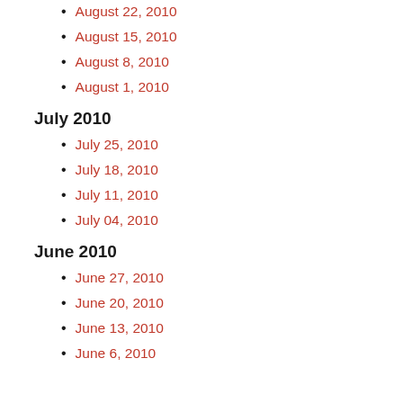August 22, 2010
August 15, 2010
August 8, 2010
August 1, 2010
July 2010
July 25, 2010
July 18, 2010
July 11, 2010
July 04, 2010
June 2010
June 27, 2010
June 20, 2010
June 13, 2010
June 6, 2010